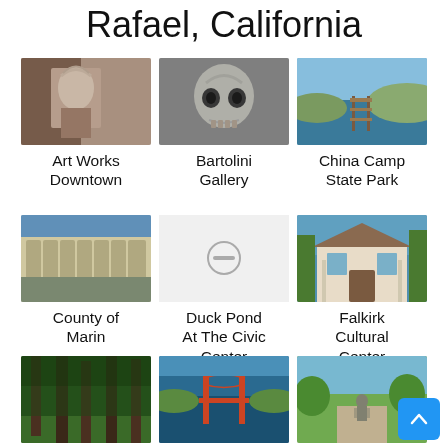Rafael, California
[Figure (photo): Art Works Downtown – decorative angel/figure photo]
Art Works Downtown
[Figure (photo): Bartolini Gallery – skull sculpture photo]
Bartolini Gallery
[Figure (photo): China Camp State Park – waterfront/dock photo]
China Camp State Park
[Figure (photo): County of Marin – building architecture photo]
County of Marin
[Figure (photo): Duck Pond At The Civic Center – placeholder minus icon]
Duck Pond At The Civic Center
[Figure (photo): Falkirk Cultural Center – Victorian house photo]
Falkirk Cultural Center
[Figure (photo): Gerstle Park – forest/trees photo]
Gerstle Park
[Figure (photo): Golden Gate Bridge – aerial photo]
Golden Gate Bridge
[Figure (photo): Imagination Park – statue in park photo]
Imagination Park